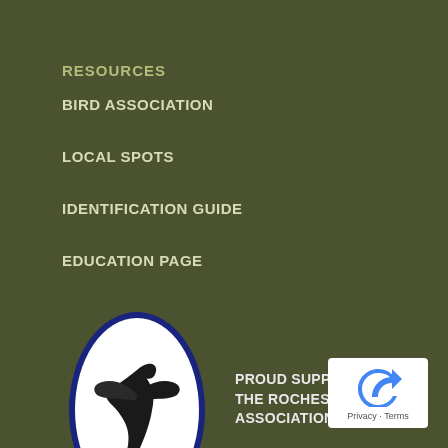RESOURCES
BIRD ASSOCIATION
LOCAL SPOTS
IDENTIFICATION GUIDE
EDUCATION PAGE
[Figure (logo): Rochester Birding Association logo — oval shape with dark blue border, white background, black silhouette of a bird in flight]
PROUD SUPPORTERS OF THE ROCHESTER BIRDING ASSOCIATION
[Figure (logo): Google reCAPTCHA icon with Privacy and Terms text]